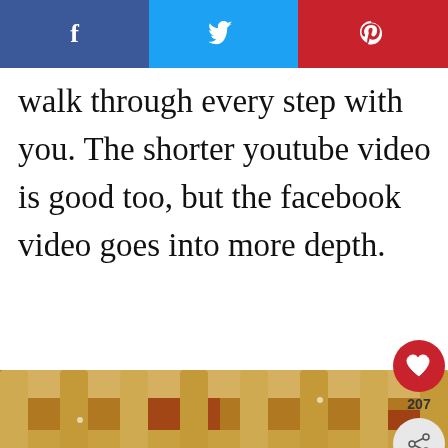[Figure (screenshot): Social share bar with Facebook (blue), Twitter (light blue), and Pinterest (red) buttons across the top]
walk through every step with you. The shorter youtube video is good too, but the facebook video goes into more depth.
[Figure (photo): Close-up photo of a lattice-topped fruit pie with golden-brown pastry strips and fruit filling visible beneath, dusted with powdered sugar]
[Figure (screenshot): UI overlay with heart/like button (207 count), share button, and 'WHAT'S NEXT → Two in One Pecan...' card with thumbnail]
[Figure (screenshot): Advertisement banner: LOVE > HATE with hands forming heart shape on green background, with close (X) button]